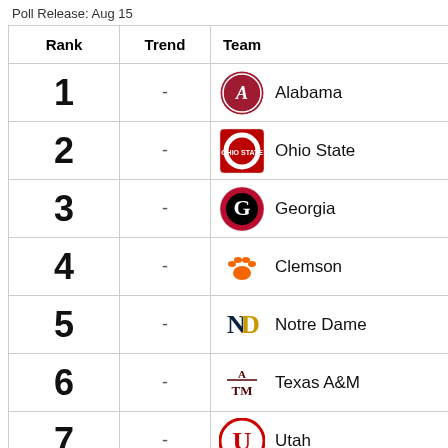Poll Release: Aug 15
| Rank | Trend | Team |
| --- | --- | --- |
| 1 | - | Alabama |
| 2 | - | Ohio State |
| 3 | - | Georgia |
| 4 | - | Clemson |
| 5 | - | Notre Dame |
| 6 | - | Texas A&M |
| 7 | - | Utah |